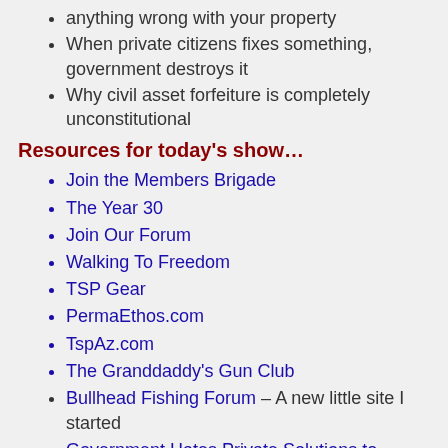anything wrong with your property
When private citizens fixes something, government destroys it
Why civil asset forfeiture is completely unconstitutional
Resources for today's show…
Join the Members Brigade
The Year 30
Join Our Forum
Walking To Freedom
TSP Gear
PermaEthos.com
TspAz.com
The Granddaddy's Gun Club
Bullhead Fishing Forum – A new little site I started
Government Hates Private Solutions to Public Problems
Natural Solutions to Japanese Beatles